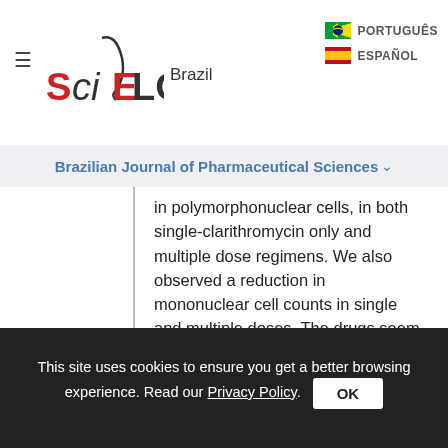SciELO Brazil | PORTUGUÊS | ESPAÑOL
Brazilian Journal of Pharmaceutical Sciences
in polymorphonuclear cells, in both single-clarithromycin only and multiple dose regimens. We also observed a reduction in mononuclear cell counts in single and multiple doses. The drugs seem to reverse the mononuclear and polymorphonuclear cell ratio. An increase in oxidative burst was observed in animals treated with the drugs administered either individually or combined. In conclusion, clofazimine and clarithromycin change WBCs counts. Our results may contribute for a better understanding of the mechanisms related to the effects of co-
This site uses cookies to ensure you get a better browsing experience. Read our Privacy Policy.